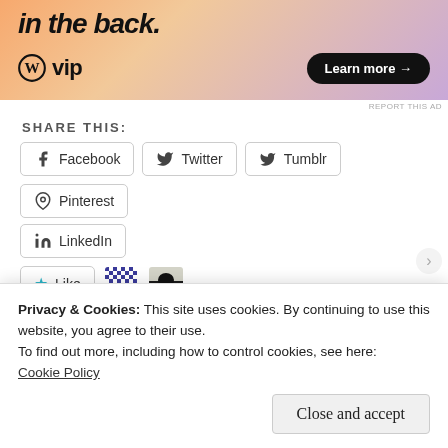[Figure (screenshot): WordPress VIP advertisement banner with gradient background (orange to pink/purple). Shows italic bold text 'in the back.' at top, WordPress logo with 'vip' text at bottom left, and a black rounded 'Learn more →' button at bottom right.]
REPORT THIS AD
SHARE THIS:
Facebook
Twitter
Tumblr
Pinterest
LinkedIn
[Figure (other): Like button with cyan star icon, followed by two small avatar images of bloggers who liked the post.]
2 bloggers like this.
Privacy & Cookies: This site uses cookies. By continuing to use this website, you agree to their use.
To find out more, including how to control cookies, see here:
Cookie Policy
Close and accept